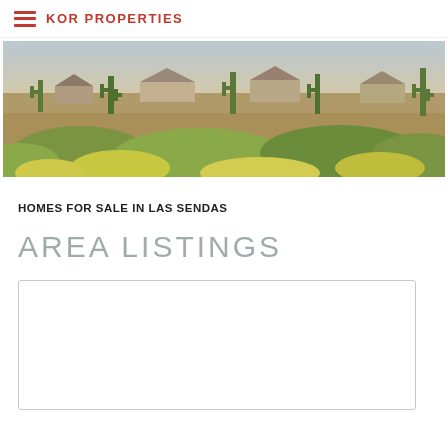KOR PROPERTIES
[Figure (photo): Aerial/landscape view of desert neighborhood with saguaro cacti, shrubs, and desert homes in Las Sendas area]
HOMES FOR SALE IN LAS SENDAS
AREA LISTINGS
[Figure (other): White listing card placeholder box with border]